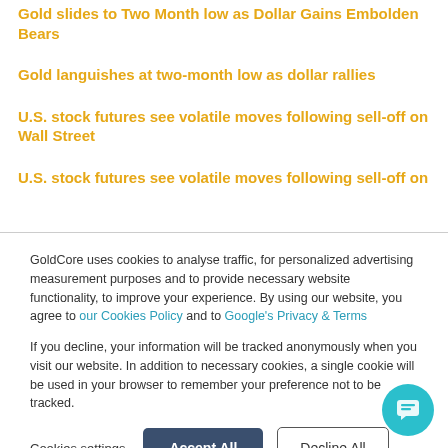Gold slides to Two Month low as Dollar Gains Embolden Bears
Gold languishes at two-month low as dollar rallies
U.S. stock futures see volatile moves following sell-off on Wall Street
U.S. stock futures see volatile moves following sell-off on
GoldCore uses cookies to analyse traffic, for personalized advertising measurement purposes and to provide necessary website functionality, to improve your experience. By using our website, you agree to our Cookies Policy and to Google's Privacy & Terms

If you decline, your information will be tracked anonymously when you visit our website. In addition to necessary cookies, a single cookie will be used in your browser to remember your preference not to be tracked.
Cookies settings
Accept All
Decline All